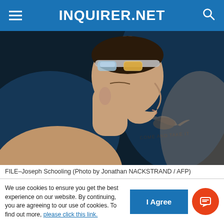INQUIRER.NET
[Figure (photo): Close-up profile photo of Joseph Schooling wearing swim goggles on his forehead. A tattoo is visible on his neck/shoulder area reading 'COME AND TAKE IT' with a longhorn bull design.]
FILE–Joseph Schooling (Photo by Jonathan NACKSTRAND / AFP)
Olympic swimming hero Joseph Schooling had a
We use cookies to ensure you get the best experience on our website. By continuing, you are agreeing to our use of cookies. To find out more, please click this link.